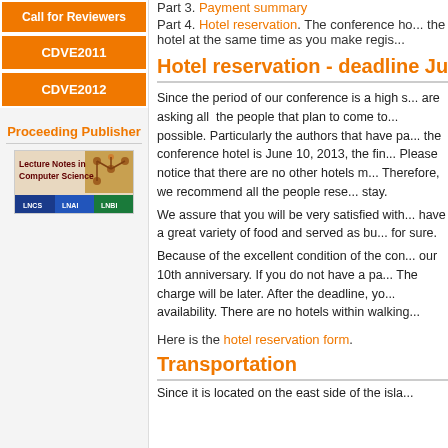Call for Reviewers
CDVE2011
CDVE2012
Proceeding Publisher
[Figure (logo): Lecture Notes in Computer Science logo with LNCS, LNAI, LNBI branding]
Part 3. Payment summary
Part 4. Hotel reservation. The conference ho... the hotel at the same time as you make regis...
Hotel reservation - deadline Jun...
Since the period of our conference is a high s... are asking all the people that plan to come to... possible. Particularly the authors that have pa... the conference hotel is June 10, 2013, the fin... Please notice that there are no other hotels m... Therefore, we recommend all the people rese... stay.
We assure that you will be very satisfied with... have a great variety of food and served as bu... for sure.
Because of the excellent condition of the con... our 10th anniversary. If you do not have a pa... The charge will be later. After the deadline, yo... availability. There are no hotels within walking...
Here is the hotel reservation form.
Transportation
Since it is located on the east side of the isla...